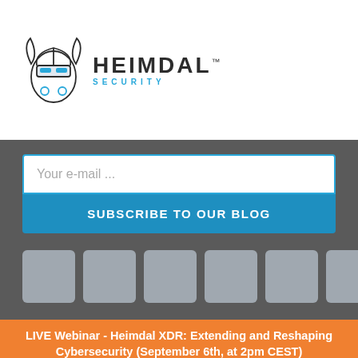[Figure (logo): Heimdal Security logo with viking helmet icon and text HEIMDAL with TM mark and SECURITY subtitle in blue]
Your e-mail ...
SUBSCRIBE TO OUR BLOG
[Figure (other): Six social media icon placeholder boxes in a row]
LIVE Webinar - Heimdal XDR: Extending and Reshaping Cybersecurity (September 6th, at 2pm CEST)
Join Free